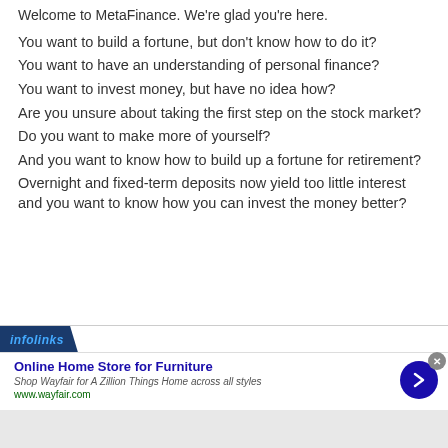Welcome to MetaFinance. We're glad you're here.
You want to build a fortune, but don't know how to do it?
You want to have an understanding of personal finance?
You want to invest money, but have no idea how?
Are you unsure about taking the first step on the stock market?
Do you want to make more of yourself?
And you want to know how to build up a fortune for retirement?
Overnight and fixed-term deposits now yield too little interest and you want to know how you can invest the money better?
[Figure (screenshot): Infolinks advertisement banner for Wayfair Online Home Store for Furniture]